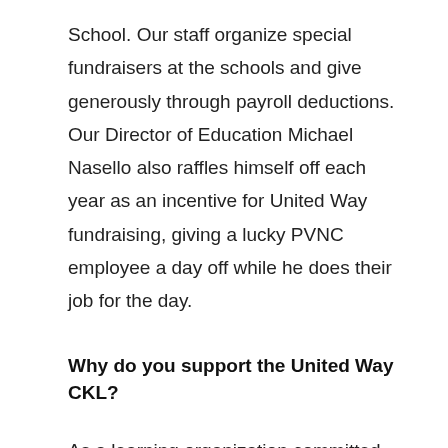School. Our staff organize special fundraisers at the schools and give generously through payroll deductions. Our Director of Education Michael Nasello also raffles himself off each year as an incentive for United Way fundraising, giving a lucky PVNC employee a day off while he does their job for the day.
Why do you support the United Way CKL?
As a learning organization committed to the key principles of Catholic Social Teaching and to moving our faith into action, we are proud to support four United Way campaigns in our jurisdiction including United Way CKL. We know that some of our students and their families rely on the many services supported by the United Way. Our educators and support staff care deeply